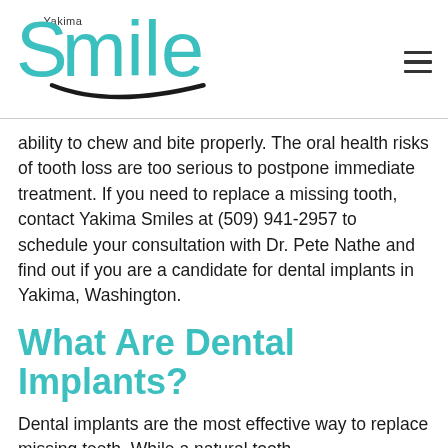[Figure (logo): Yakima Smiles logo with teal stylized text and a smile curve underline]
ability to chew and bite properly. The oral health risks of tooth loss are too serious to postpone immediate treatment. If you need to replace a missing tooth, contact Yakima Smiles at (509) 941-2957 to schedule your consultation with Dr. Pete Nathe and find out if you are a candidate for dental implants in Yakima, Washington.
What Are Dental Implants?
Dental implants are the most effective way to replace missing teeth. While a natural tooth